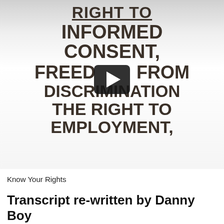[Figure (photo): A photograph of a printed sign showing text about rights: 'RIGHT TO INFORMED CONSENT, FREEDOM FROM DISCRIMINATION THE RIGHT TO EMPLOYMENT,' with a video play button overlay in the center.]
Know Your Rights
Transcript re-written by Danny Boy